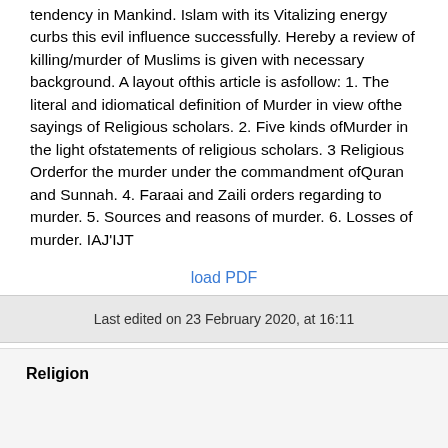tendency in Mankind. Islam with its Vitalizing energy curbs this evil influence successfully. Hereby a review of killing/murder of Muslims is given with necessary background. A layout ofthis article is asfollow: 1. The literal and idiomatical definition of Murder in view ofthe sayings of Religious scholars. 2. Five kinds ofMurder in the light ofstatements of religious scholars. 3 Religious Orderfor the murder under the commandment ofQuran and Sunnah. 4. Faraai and Zaili orders regarding to murder. 5. Sources and reasons of murder. 6. Losses of murder. IAJ'IJT
load PDF
Last edited on 23 February 2020, at 16:11
Religion